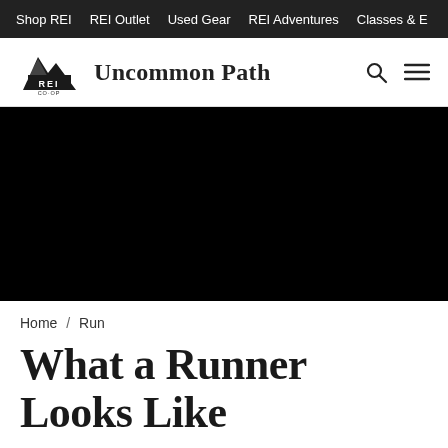Shop REI   REI Outlet   Used Gear   REI Adventures   Classes & E…
[Figure (logo): REI Co-op logo and Uncommon Path site name header with search and menu icons]
[Figure (photo): Large black hero image (photo not visible)]
Home / Run
What a Runner Looks Like